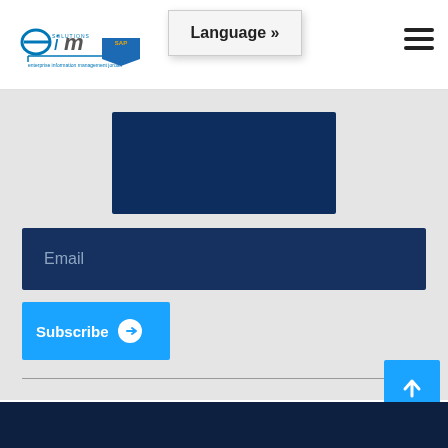[Figure (logo): EIM Solutions logo with SAP Gold Partner badge]
Language »
[Figure (other): Hamburger menu icon (three horizontal lines)]
[Figure (other): Dark navy rectangular form box (empty)]
Email
Subscribe →
[Figure (other): Back to top arrow button (blue)]